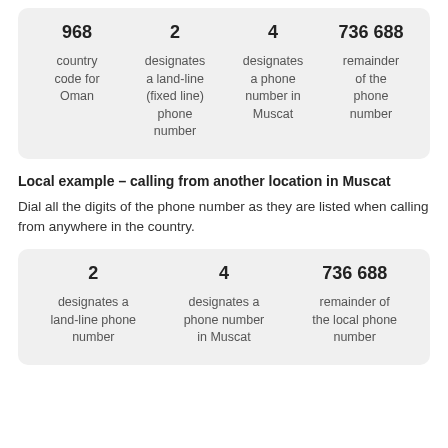[Figure (infographic): Card showing phone number breakdown: 968 (country code for Oman), 2 (designates a land-line (fixed line) phone number), 4 (designates a phone number in Muscat), 736 688 (remainder of the phone number)]
Local example – calling from another location in Muscat
Dial all the digits of the phone number as they are listed when calling from anywhere in the country.
[Figure (infographic): Card showing phone number breakdown: 2 (designates a land-line phone number), 4 (designates a phone number in Muscat), 736 688 (remainder of the local phone number)]